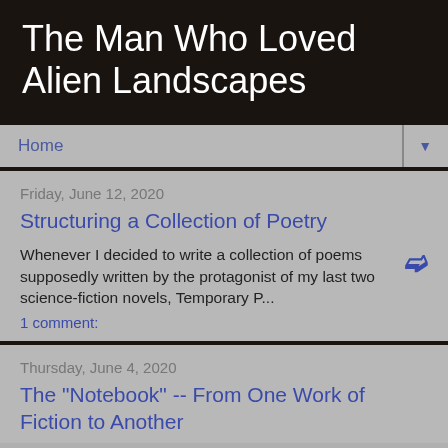The Man Who Loved Alien Landscapes
Home
Friday, June 12, 2020
Structuring a Collection of Poetry
Whenever I decided to write a collection of poems supposedly written by the protagonist of my last two science-fiction novels, Temporary P...
1 comment:
Thursday, June 4, 2020
The "Notebook" -- From One Work of Fiction to Another